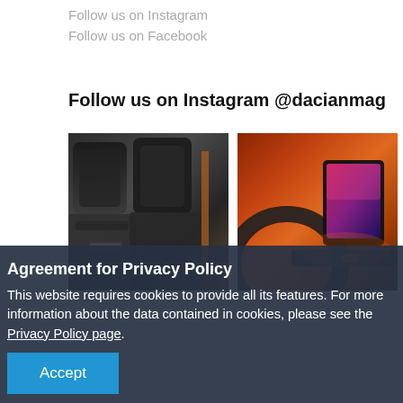Follow us on Instagram
Follow us on Facebook
Follow us on Instagram @dacianmag
[Figure (photo): Car interior showing dark grey/black headrests and seats with stitched fabric detail]
[Figure (photo): Car dashboard with a tablet/screen mounted, orange/amber ambient lighting, steering wheel visible]
Agreement for Privacy Policy
This website requires cookies to provide all its features. For more information about the data contained in cookies, please see the Privacy Policy page.
Accept